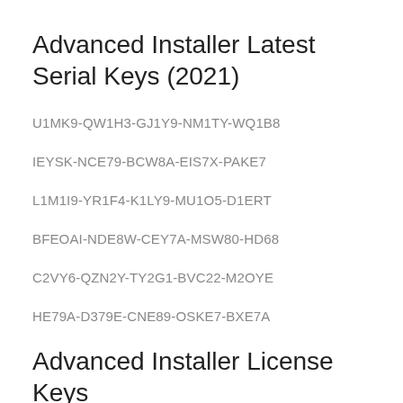Advanced Installer Latest Serial Keys (2021)
U1MK9-QW1H3-GJ1Y9-NM1TY-WQ1B8
IEYSK-NCE79-BCW8A-EIS7X-PAKE7
L1M1I9-YR1F4-K1LY9-MU1O5-D1ERT
BFEOAI-NDE8W-CEY7A-MSW80-HD68
C2VY6-QZN2Y-TY2G1-BVC22-M2OYE
HE79A-D379E-CNE89-OSKE7-BXE7A
Advanced Installer License Keys (2021)